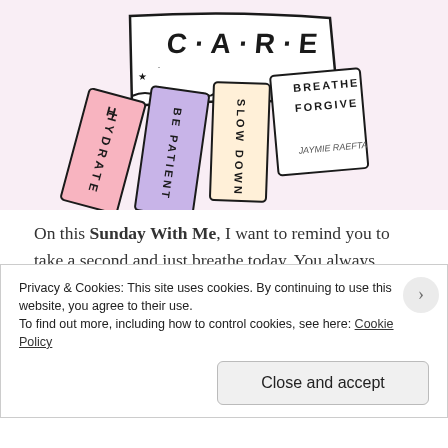[Figure (illustration): Hand-drawn illustration on a light pink/lavender background showing a receipt or paper with 'CARE' written at the top, with strips of paper unrolling showing the words: HYDRATE, BE PATIENT, SLOW DOWN, BREATHE, FORGIVE. Artist signature: Jaymie Raefta.]
On this Sunday With Me, I want to remind you to take a second and just breathe today. You always deserve to do this, but why not make Sunday your day to do it? Note 5 people or things in your life that you're grateful for, take a long, deep breath and do something big or small that fills
Privacy & Cookies: This site uses cookies. By continuing to use this website, you agree to their use.
To find out more, including how to control cookies, see here: Cookie Policy
Close and accept